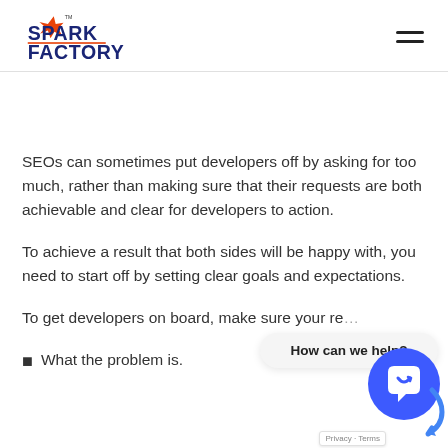Spark Factory logo and navigation menu
SEOs can sometimes put developers off by asking for too much, rather than making sure that their requests are both achievable and clear for developers to action.
To achieve a result that both sides will be happy with, you need to start off by setting clear goals and expectations.
To get developers on board, make sure your re…
What the problem is.